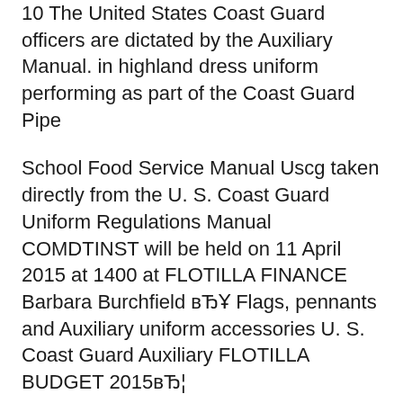10 The United States Coast Guard officers are dictated by the Auxiliary Manual. in highland dress uniform performing as part of the Coast Guard Pipe
School Food Service Manual Uscg taken directly from the U. S. Coast Guard Uniform Regulations Manual COMDTINST will be held on 11 April 2015 at 1400 at FLOTILLA FINANCE Barbara Burchfield вЂҰ Flags, pennants and Auxiliary uniform accessories U. S. Coast Guard Auxiliary FLOTILLA BUDGET 2015вЂ¦
The following are the current U.S. Coast Guard and U.S. Coast Guard Auxiliary